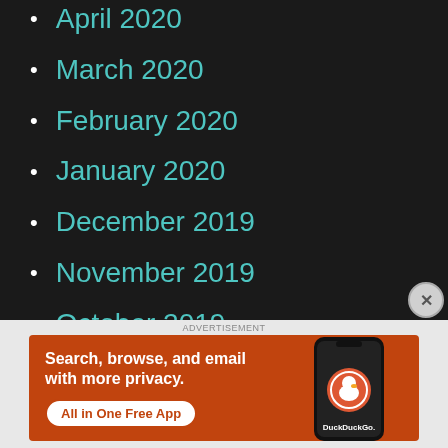April 2020
March 2020
February 2020
January 2020
December 2019
November 2019
October 2019
September 2019
August 2019
[Figure (screenshot): DuckDuckGo advertisement banner showing 'Search, browse, and email with more privacy. All in One Free App' with a phone image and DuckDuckGo logo on orange background]